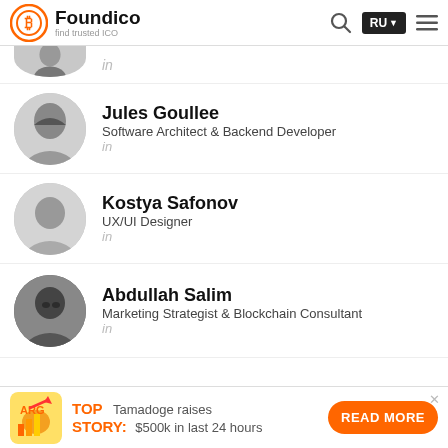Foundico – find trusted ICO
[Figure (photo): Partially visible person at top (cropped), with LinkedIn icon]
Jules Goullee
Software Architect & Backend Developer
in
Kostya Safonov
UX/UI Designer
in
Abdullah Salim
Marketing Strategist & Blockchain Consultant
in
TOP STORY: Tamadoge raises $500k in last 24 hours – READ MORE